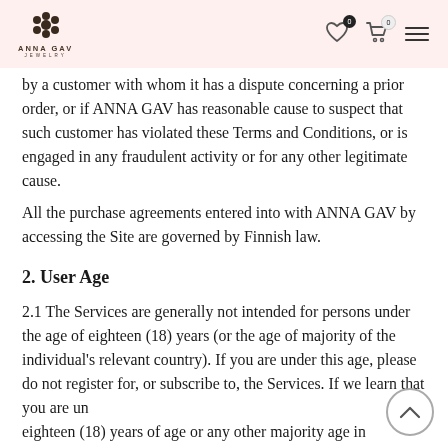ANNA GAV JEWELRY
by a customer with whom it has a dispute concerning a prior order, or if ANNA GAV has reasonable cause to suspect that such customer has violated these Terms and Conditions, or is engaged in any fraudulent activity or for any other legitimate cause.
All the purchase agreements entered into with ANNA GAV by accessing the Site are governed by Finnish law.
2. User Age
2.1 The Services are generally not intended for persons under the age of eighteen (18) years (or the age of majority of the individual&#39;s relevant country). If you are under this age, please do not register for, or subscribe to, the Services. If we learn that you are under eighteen (18) years of age or any other majority age in